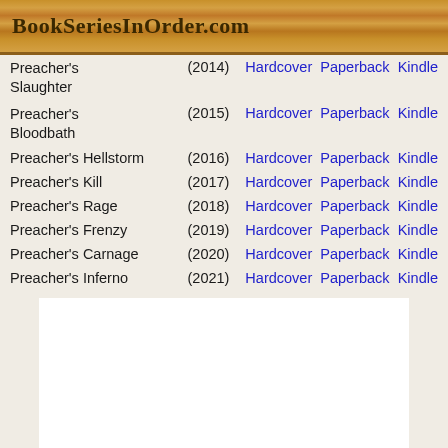BookSeriesInOrder.com
| Title | Year | Formats |
| --- | --- | --- |
| Preacher's Slaughter | (2014) | Hardcover  Paperback  Kindle |
| Preacher's Bloodbath | (2015) | Hardcover  Paperback  Kindle |
| Preacher's Hellstorm | (2016) | Hardcover  Paperback  Kindle |
| Preacher's Kill | (2017) | Hardcover  Paperback  Kindle |
| Preacher's Rage | (2018) | Hardcover  Paperback  Kindle |
| Preacher's Frenzy | (2019) | Hardcover  Paperback  Kindle |
| Preacher's Carnage | (2020) | Hardcover  Paperback  Kindle |
| Preacher's Inferno | (2021) | Hardcover  Paperback  Kindle |